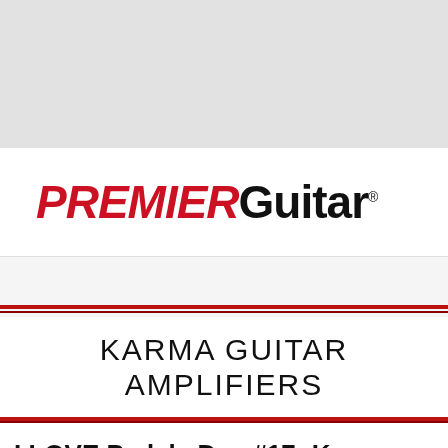[Figure (logo): Premier Guitar logo with PREMIER in red italic bold and Guitar in black bold, followed by registered trademark symbol]
KARMA GUITAR AMPLIFIERS
I LOVE Pedals Day #17: Karma Guitar Amplifiers